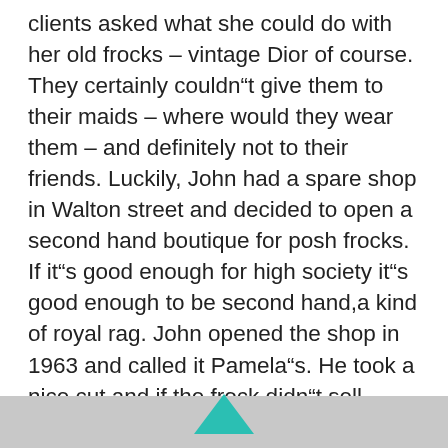clients asked what she could do with her old frocks – vintage Dior of course. They certainly couldn“t give them to their maids – where would they wear them – and definitely not to their friends. Luckily, John had a spare shop in Walton street and decided to open a second hand boutique for posh frocks. If it“s good enough for high society it“s good enough to be second hand,a kind of royal rag. John opened the shop in 1963 and called it Pamela“s. He took a nice cut and if the frock didn“t sell within six weeks it was given to charity.
[Figure (other): Teal/turquoise arrow or chevron shape partially visible at the bottom center of the page on a grey bar]